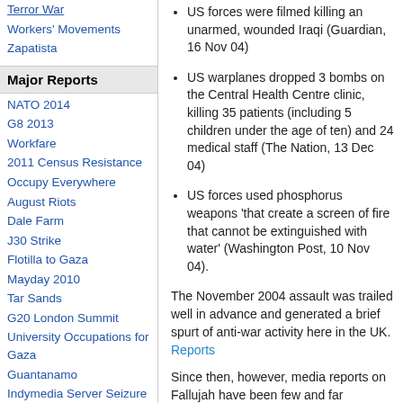Terror War
Workers' Movements
Zapatista
Major Reports
NATO 2014
G8 2013
Workfare
2011 Census Resistance
Occupy Everywhere
August Riots
Dale Farm
J30 Strike
Flotilla to Gaza
Mayday 2010
Tar Sands
G20 London Summit
University Occupations for Gaza
Guantanamo
Indymedia Server Seizure
COP15 Climate Summit
US forces were filmed killing an unarmed, wounded Iraqi (Guardian, 16 Nov 04)
US warplanes dropped 3 bombs on the Central Health Centre clinic, killing 35 patients (including 5 children under the age of ten) and 24 medical staff (The Nation, 13 Dec 04)
US forces used phosphorus weapons 'that create a screen of fire that cannot be extinguished with water' (Washington Post, 10 Nov 04).
The November 2004 assault was trailed well in advance and generated a brief spurt of anti-war activity here in the UK. Reports
Since then, however, media reports on Fallujah have been few and far between, and the plight of the city's inhabitants – including the estimated 200,000 civilians who fled the attack